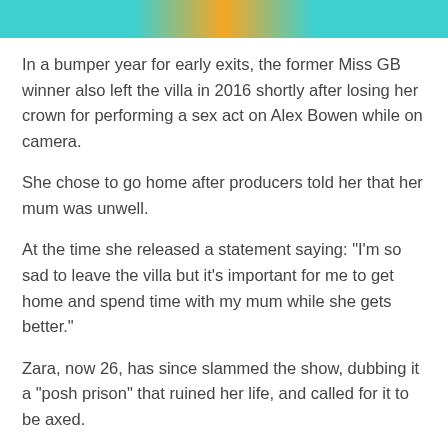[Figure (photo): Cropped top portion of a photo showing colorful background in teal and orange tones]
In a bumper year for early exits, the former Miss GB winner also left the villa in 2016 shortly after losing her crown for performing a sex act on Alex Bowen while on camera.
She chose to go home after producers told her that her mum was unwell.
At the time she released a statement saying: "I'm so sad to leave the villa but it's important for me to get home and spend time with my mum while she gets better."
Zara, now 26, has since slammed the show, dubbing it a "posh prison" that ruined her life, and called for it to be axed.